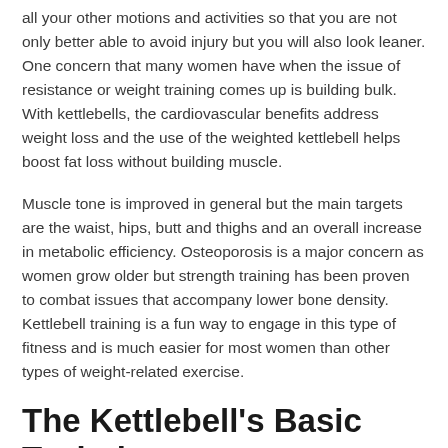all your other motions and activities so that you are not only better able to avoid injury but you will also look leaner. One concern that many women have when the issue of resistance or weight training comes up is building bulk. With kettlebells, the cardiovascular benefits address weight loss and the use of the weighted kettlebell helps boost fat loss without building muscle.
Muscle tone is improved in general but the main targets are the waist, hips, butt and thighs and an overall increase in metabolic efficiency. Osteoporosis is a major concern as women grow older but strength training has been proven to combat issues that accompany lower bone density. Kettlebell training is a fun way to engage in this type of fitness and is much easier for most women than other types of weight-related exercise.
The Kettlebell's Basic Techniques